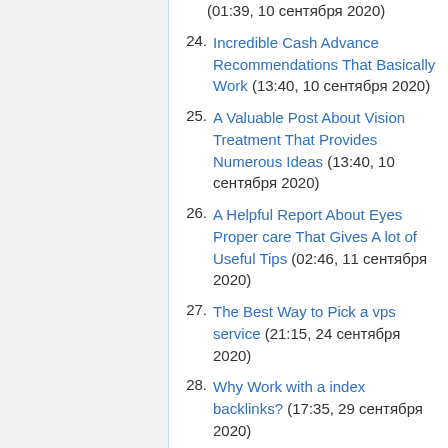(01:39, 10 сентября 2020)
24. Incredible Cash Advance Recommendations That Basically Work (13:40, 10 сентября 2020)
25. A Valuable Post About Vision Treatment That Provides Numerous Ideas (13:40, 10 сентября 2020)
26. A Helpful Report About Eyes Proper care That Gives A lot of Useful Tips (02:46, 11 сентября 2020)
27. The Best Way to Pick a vps service (21:15, 24 сентября 2020)
28. Why Work with a index backlinks? (17:35, 29 сентября 2020)
29. Use These Ideas And Optimize Your Proficiency In Gold (19:15